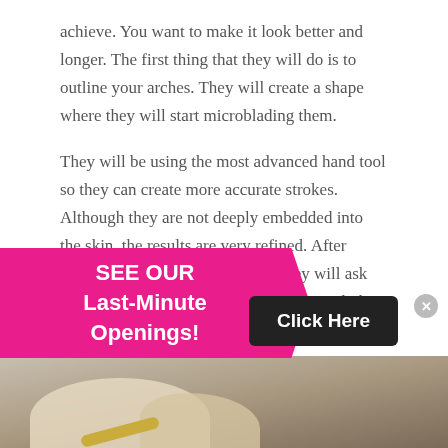achieve. You want to make it look better and longer. The first thing that they will do is to outline your arches. They will create a shape where they will start microblading them.
They will be using the most advanced hand tool so they can create more accurate strokes. Although they are not deeply embedded into the skin, the results are very refined. After explaining the entire procedure, they will ask you to lie down on a clean bed. Afterward, they will begin forming small superficial cuts along your brow.
[Figure (infographic): Magenta/pink promotional banner with clipped right edge reading 'SEE OUR Last-Minute Openings!' and a dark 'Click Here' button to the right]
[Figure (photo): Partial photo at bottom of page showing gloved hands performing a procedure]